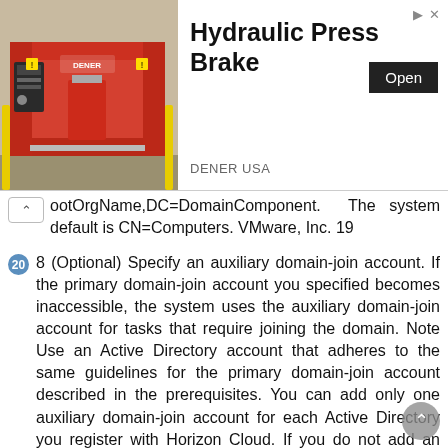[Figure (photo): Advertisement banner for Hydraulic Press Brake by DENER USA, showing an image of the machine on the left, bold title text 'Hydraulic Press Brake', an 'Open' button, and 'DENER USA' company name.]
ootOrgName,DC=DomainComponent. The system default is CN=Computers. VMware, Inc. 19
8 (Optional) Specify an auxiliary domain-join account. If the primary domain-join account you specified becomes inaccessible, the system uses the auxiliary domain-join account for tasks that require joining the domain. Note Use an Active Directory account that adheres to the same guidelines for the primary domain-join account described in the prerequisites. You can add only one auxiliary domain-join account for each Active Directory you register with Horizon Cloud. If you do not add an auxiliary domain-join account at this time, you can add one later using the Administration Console. You can update or remove this account later. The agent software on a desktop must be version 18.1 or later for the system to use the auxiliary domain-join account with that desktop. Option Auxiliary Join Username Description User account in the Active Directory